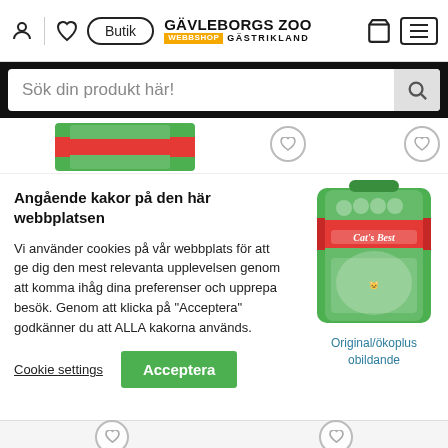Gävleborgs Zoo Webbshop Gästrikland — navigation bar with Butik button, user icon, heart icon, cart, menu
Sök din produkt här!
[Figure (screenshot): Product packaging images partially visible at top]
Angående kakor på den här webbplatsen

Vi använder cookies på vår webbplats för att ge dig den mest relevanta upplevelsen genom att komma ihåg dina preferenser och upprepa besök. Genom att klicka på "Acceptera" godkänner du att ALLA kakorna används.
Cookie settings
Acceptera
[Figure (photo): Cat's Best cat litter product in green/red bag]
Original/ökoplus
obildande